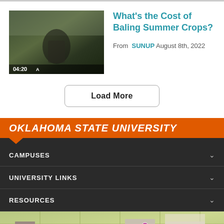[Figure (screenshot): Video thumbnail showing a man in a field setting with duration overlay 04:20 and closed caption indicator]
What's the Cost of Baling Summer Crops?
From SUNUP August 8th, 2022
Load More
OKLAHOMA STATE UNIVERSITY
CAMPUSES
UNIVERSITY LINKS
RESOURCES
[Figure (map): Aerial/isometric campus map of Oklahoma State University showing buildings, parking lots, and pathways with colored markers]